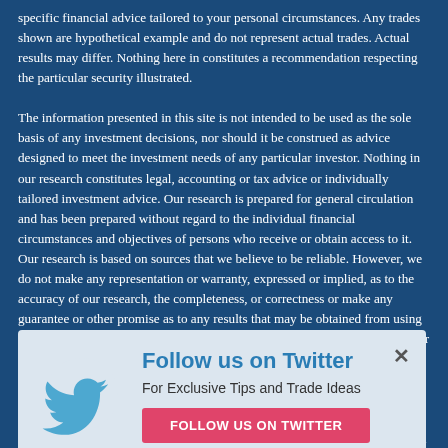specific financial advice tailored to your personal circumstances. Any trades shown are hypothetical example and do not represent actual trades. Actual results may differ. Nothing here in constitutes a recommendation respecting the particular security illustrated.

The information presented in this site is not intended to be used as the sole basis of any investment decisions, nor should it be construed as advice designed to meet the investment needs of any particular investor. Nothing in our research constitutes legal, accounting or tax advice or individually tailored investment advice. Our research is prepared for general circulation and has been prepared without regard to the individual financial circumstances and objectives of persons who receive or obtain access to it. Our research is based on sources that we believe to be reliable. However, we do not make any representation or warranty, expressed or implied, as to the accuracy of our research, the completeness, or correctness or make any guarantee or other promise as to any results that may be obtained from using our research. To the maximum extent permitted by law, neither we, any of our affiliates, nor any other person, shall have any liability whatsoever to any person for any loss or expense, whether direct, indirect, consequential, incidental or otherwise, arising from or relating in any way to any use of or reliance on our research or the information contained therein. Some discussions contain forward looking statements which are ... ed. All of our ... ontained ... dissemination ... Further, we ... Investing involves substantial risk of principal. No guarantee of future results and a loss of original capital may occur. No one receiving or
[Figure (screenshot): Twitter follow popup overlay with light blue background. Contains a Twitter bird logo on the left, bold blue text 'Follow us on Twitter' as title, subtitle 'For Exclusive Tips and Trade Ideas', and a pink/red button 'FOLLOW US ON TWITTER'. An X close button is in the top right corner.]